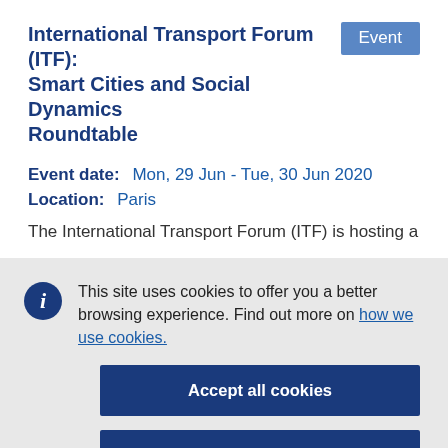International Transport Forum (ITF): Smart Cities and Social Dynamics Roundtable
Event
Event date:   Mon, 29 Jun - Tue, 30 Jun 2020
Location:   Paris
The International Transport Forum (ITF) is hosting a
This site uses cookies to offer you a better browsing experience. Find out more on how we use cookies.
Accept all cookies
Accept only essential cookies